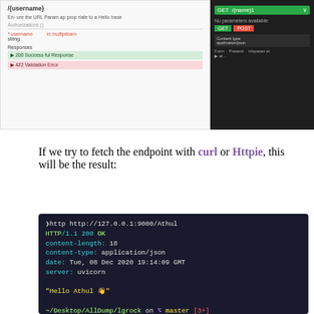[Figure (screenshot): Swagger UI endpoint documentation (left) and dark API client panel (right) showing GET endpoint with 200 and 422 responses]
If we try to fetch the endpoint with curl or Httpie, this will be the result:
[Figure (screenshot): Terminal output showing HTTP request to http://127.0.0.1:9000/Athul returning HTTP/1.1 200 OK with headers content-length: 18, content-type: application/json, date: Tue, 08 Dec 2020 19:14:09 GMT, server: uvicorn. Response body: "Hello Athul 👋". Then showing ~/Desktop/AllDump/lgrock on master [3+] and next command http http://127.0.0.1:9000/developer]